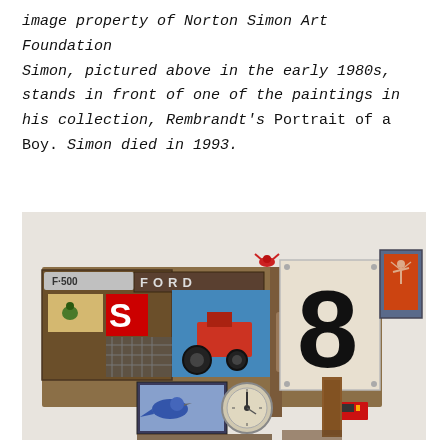image property of Norton Simon Art Foundation Simon, pictured above in the early 1980s, stands in front of one of the paintings in his collection, Rembrandt's Portrait of a Boy. Simon died in 1993.
[Figure (photo): A mixed-media assemblage artwork mounted on a wall. The piece includes a Ford F-500 truck emblem, a large red letter S, a red tractor painting, a large number 8 on a white panel, a blue jay bird painting in a box, a circular gauge/dial, a small painting of a person with raised arms, a red lobster figure on top, and various found objects including wooden boxes, wire mesh, and metal pieces arranged in a horizontal composition.]